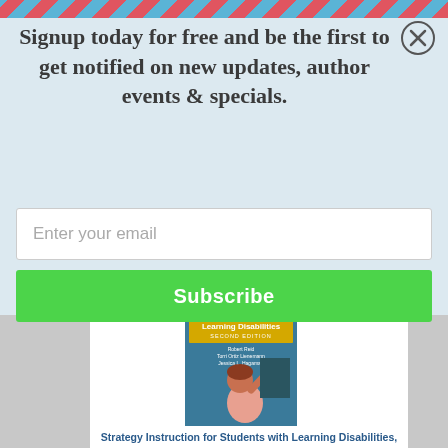Signup today for free and be the first to get notified on new updates, author events & specials.
Enter your email
Subscribe
[Figure (illustration): Book cover for 'Learning Disabilities Second Edition' by Robert Reid, Torri Ortiz Lienemann, Jessica L. Hagaman, showing a child writing on a chalkboard]
Strategy Instruction for Students with Learning Disabilities, Second Edition (What Works for Special-Needs Learners) (Hardcover)
By Robert Reid, PhD, Torri Ortiz Lienemann, PhD, Jessica L. Hagaman, PhD